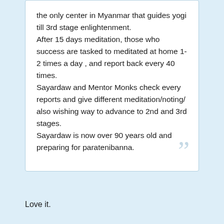the only center in Myanmar that guides yogi till 3rd stage enlightenment. After 15 days meditation, those who success are tasked to meditated at home 1-2 times a day , and report back every 40 times. Sayardaw and Mentor Monks check every reports and give different meditation/noting/ also wishing way to advance to 2nd and 3rd stages. Sayardaw is now over 90 years old and preparing for paratenibanna.
Love it.